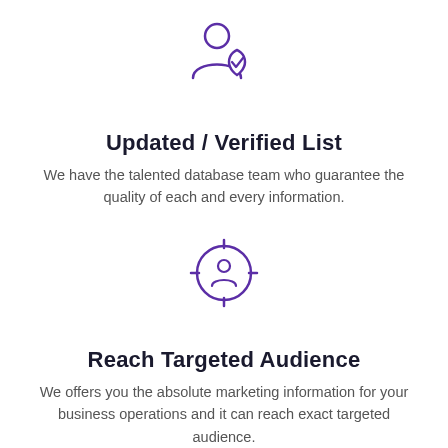[Figure (illustration): Purple outline icon of a person silhouette with a shield and checkmark overlay]
Updated / Verified List
We have the talented database team who guarantee the quality of each and every information.
[Figure (illustration): Purple outline icon of a target/crosshair with a person silhouette in the center]
Reach Targeted Audience
We offers you the absolute marketing information for your business operations and it can reach exact targeted audience.